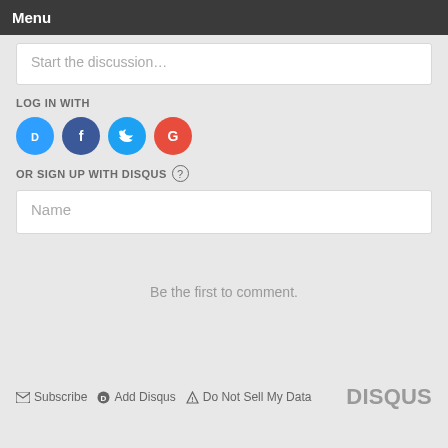Menu
Start the discussion…
LOG IN WITH
[Figure (illustration): Four social login icons: Disqus (blue), Facebook (dark blue), Twitter (light blue), Google (red)]
OR SIGN UP WITH DISQUS ?
Name
Be the first to comment.
Subscribe  Add Disqus  Do Not Sell My Data  DISQUS